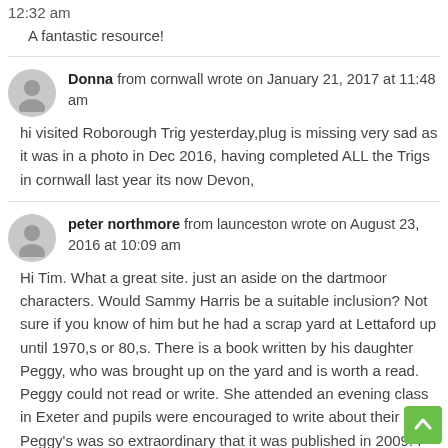12:32 am
A fantastic resource!
Donna from cornwall wrote on January 21, 2017 at 11:48 am
hi visited Roborough Trig yesterday,plug is missing very sad as it was in a photo in Dec 2016, having completed ALL the Trigs in cornwall last year its now Devon,
peter northmore from launceston wrote on August 23, 2016 at 10:09 am
Hi Tim. What a great site. just an aside on the dartmoor characters. Would Sammy Harris be a suitable inclusion? Not sure if you know of him but he had a scrap yard at Lettaford up until 1970,s or 80,s. There is a book written by his daughter Peggy, who was brought up on the yard and is worth a read. Peggy could not read or write. She attended an evening class in Exeter and pupils were encouraged to write about their past. Peggy's was so extraordinary that it was published in 2009. I lived in South Tawton in the late sixties-early seventies and